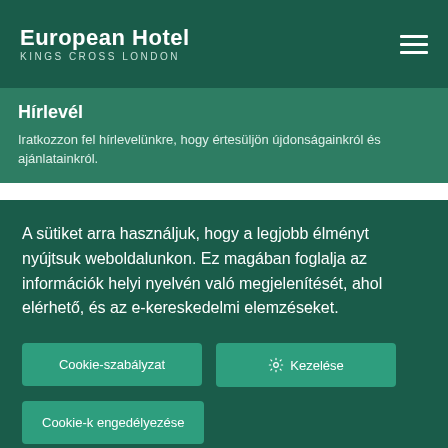European Hotel KINGS CROSS LONDON
Hírlevél
Iratkozzon fel hírlevelünkre, hogy értesüljön újdonságainkról és ajánlatainkról.
A sütiket arra használjuk, hogy a legjobb élményt nyújtsuk weboldalunkon. Ez magában foglalja az információk helyi nyelvén való megjelenítését, ahol elérhető, és az e-kereskedelmi elemzéseket.
Cookie-szabályzat
Kezelése
Cookie-k engedélyezése